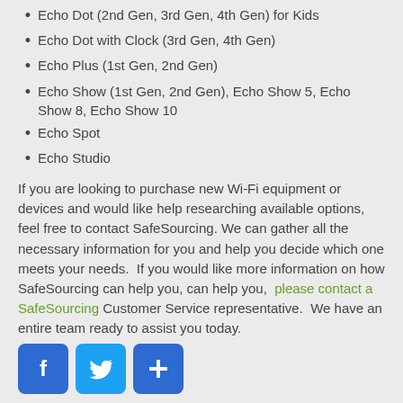Echo Dot (2nd Gen, 3rd Gen, 4th Gen) for Kids
Echo Dot with Clock (3rd Gen, 4th Gen)
Echo Plus (1st Gen, 2nd Gen)
Echo Show (1st Gen, 2nd Gen), Echo Show 5, Echo Show 8, Echo Show 10
Echo Spot
Echo Studio
If you are looking to purchase new Wi-Fi equipment or devices and would like help researching available options, feel free to contact SafeSourcing. We can gather all the necessary information for you and help you decide which one meets your needs.  If you would like more information on how SafeSourcing can help you, can help you,  please contact a SafeSourcing Customer Service representative.  We have an entire team ready to assist you today.
[Figure (other): Social media share icons: Facebook (blue), Twitter (blue), and a blue plus/share button]